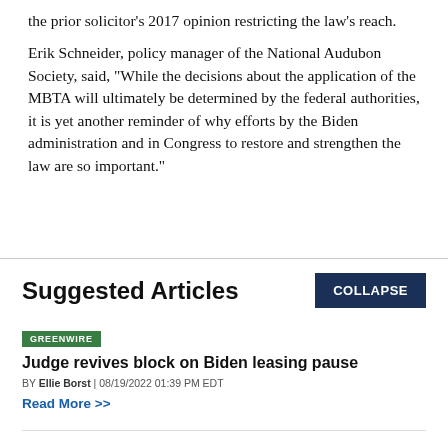the prior solicitor's 2017 opinion restricting the law's reach.
Erik Schneider, policy manager of the National Audubon Society, said, "While the decisions about the application of the MBTA will ultimately be determined by the federal authorities, it is yet another reminder of why efforts by the Biden administration and in Congress to restore and strengthen the law are so important."
Suggested Articles
GREENWIRE
Judge revives block on Biden leasing pause
BY Ellie Borst | 08/19/2022 01:39 PM EDT
Read More >>
GREENWIRE
Breakthrough research could destroy 'forever chemicals'